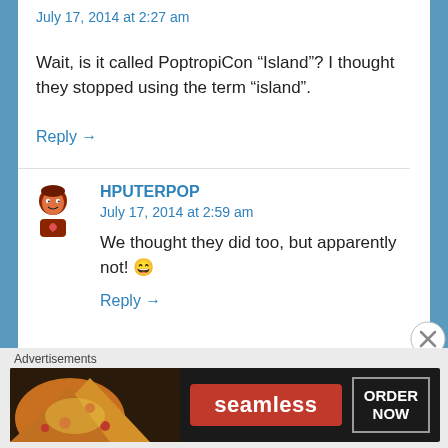July 17, 2014 at 2:27 am
Wait, is it called PoptropiCon “Island”? I thought they stopped using the term “island”.
Reply →
HPUTERPOP
July 17, 2014 at 2:59 am
We thought they did too, but apparently not! 😀
Reply →
Advertisements
[Figure (photo): Seamless food delivery advertisement banner with pizza image on left, red Seamless logo in center, and ORDER NOW button on right against dark background]